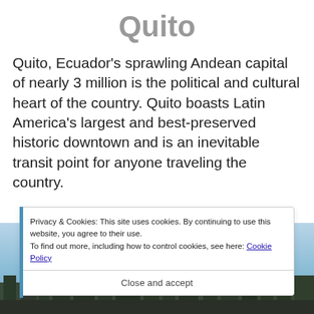Quito
Quito, Ecuador's sprawling Andean capital of nearly 3 million is the political and cultural heart of the country. Quito boasts Latin America's largest and best-preserved historic downtown and is an inevitable transit point for anyone traveling the country.
[Figure (photo): Photograph of Quito's historic downtown skyline, partially obscured by a cookie consent overlay]
Privacy & Cookies: This site uses cookies. By continuing to use this website, you agree to their use.
To find out more, including how to control cookies, see here: Cookie Policy
Close and accept